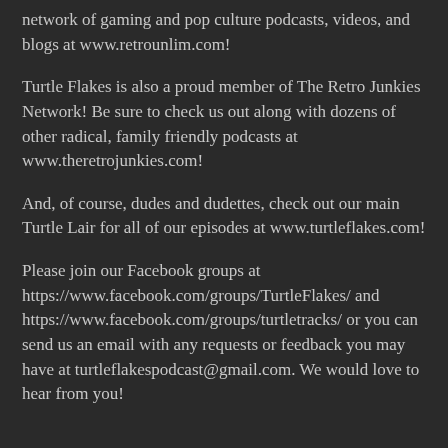network of gaming and pop culture podcasts, videos, and blogs at www.retrounlim.com!
Turtle Flakes is also a proud member of The Retro Junkies Network! Be sure to check us out along with dozens of other radical, family friendly podcasts at www.theretrojunkies.com!
And, of course, dudes and dudettes, check out our main Turtle Lair for all of our episodes at www.turtleflakes.com!
Please join our Facebook groups at https://www.facebook.com/groups/TurtleFlakes/ and https://www.facebook.com/groups/turtletracks/ or you can send us an email with any requests or feedback you may have at turtleflakespodcast@gmail.com. We would love to hear from you!